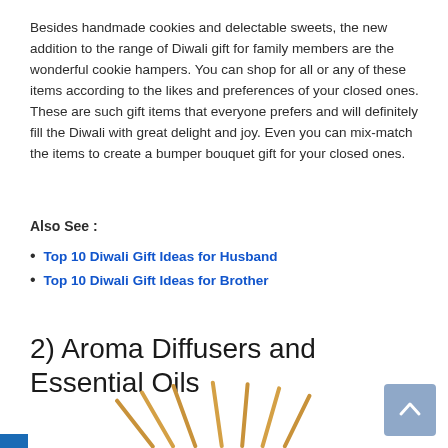Besides handmade cookies and delectable sweets, the new addition to the range of Diwali gift for family members are the wonderful cookie hampers. You can shop for all or any of these items according to the likes and preferences of your closed ones. These are such gift items that everyone prefers and will definitely fill the Diwali with great delight and joy. Even you can mix-match the items to create a bumper bouquet gift for your closed ones.
Also See :
Top 10 Diwali Gift Ideas for Husband
Top 10 Diwali Gift Ideas for Brother
2) Aroma Diffusers and Essential Oils
[Figure (photo): Bottom portion showing incense sticks fanned out, golden/tan colored, partially visible at the bottom of the page]